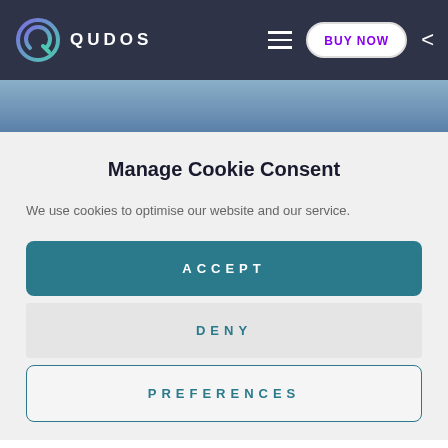[Figure (logo): Qudos logo with circular gradient Q icon and white QUDOS text in navigation bar]
QUDOS | BUY NOW
Manage Cookie Consent
We use cookies to optimise our website and our service.
ACCEPT
DENY
PREFERENCES